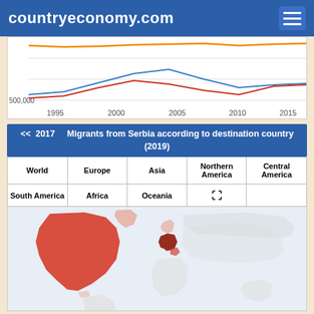countryeconomy.com
[Figure (line-chart): Partial view of a line chart showing migration data over years 1995-2015+. Three lines visible: orange (top), blue (middle), red (bottom), with a y-axis label of 500,000 visible.]
<< 2017  Migrants from Serbia according to destination country (2019)
| World | Europe | Asia | Northern America | Central America |
| --- | --- | --- | --- | --- |
| South America | Africa | Oceania | ⛶ |  |  |
[Figure (map): World map showing migrants from Serbia by destination country in 2019. North America (Canada, USA) shown in deep red/orange. Parts of Europe (Germany, Austria, nearby countries) shown in dark red. Scandinavia shown in light pink. Rest of world in light gray.]